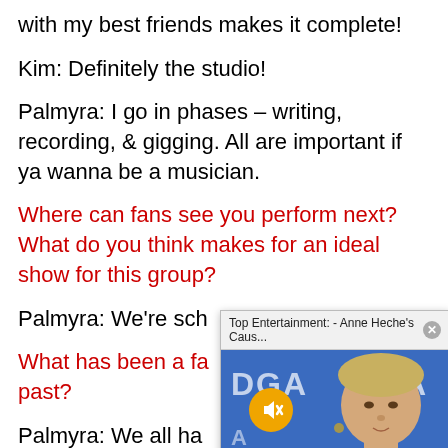with my best friends makes it complete!
Kim: Definitely the studio!
Palmyra: I go in phases – writing, recording, & gigging. All are important if ya wanna be a musician.
Where can fans see you perform next? What do you think makes for an ideal show for this group?
Palmyra: We're sch...
[Figure (screenshot): A popup video overlay showing 'Top Entertainment: - Anne Heche's Caus...' with an X close button, a mute button (orange circle with speaker icon), and a photo of a blonde woman at what appears to be a DGA awards event.]
What has been a fa... past?
Palmyra: We all ha... with our various ba... But I gotta say, as a music fan myself… I haven't missed a Muffs show within driving distance since their first tour for their first album...